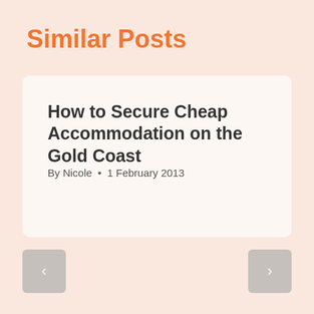Similar Posts
How to Secure Cheap Accommodation on the Gold Coast
By Nicole  •  1 February 2013